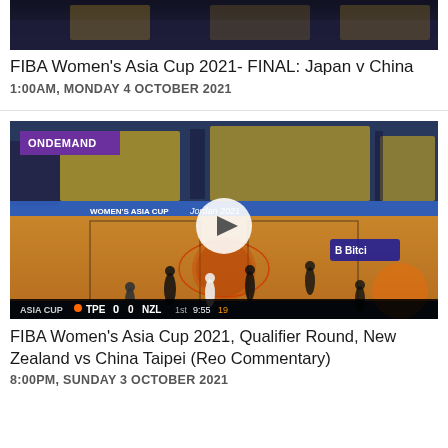[Figure (photo): Top cropped image of a basketball game, dark background]
FIBA Women's Asia Cup 2021- FINAL: Japan v China
1:00AM, MONDAY 4 OCTOBER 2021
[Figure (photo): Basketball game thumbnail with ONDEMAND badge, showing FIBA Women's Asia Cup 2021 game between TPE and NZL, score 0-0 in 1st quarter 9:55, shot clock 19. Play button overlay visible.]
FIBA Women's Asia Cup 2021, Qualifier Round, New Zealand vs China Taipei (Reo Commentary)
8:00PM, SUNDAY 3 OCTOBER 2021